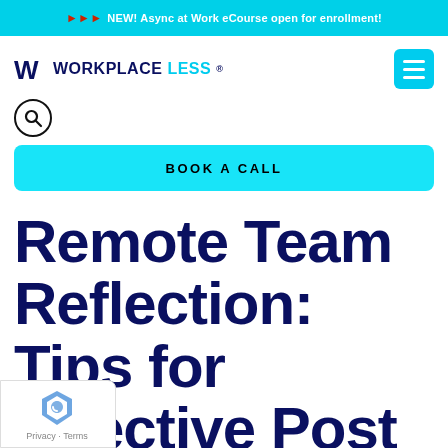🔴🔴🔴 NEW! Async at Work eCourse open for enrollment!
[Figure (logo): Workplaceless logo with stylized W and cyan LESS text]
[Figure (other): Hamburger menu button (cyan square with three white lines)]
[Figure (other): Search magnifying glass icon in circle]
BOOK A CALL
Remote Team Reflection: Tips for Effective Post Mortem